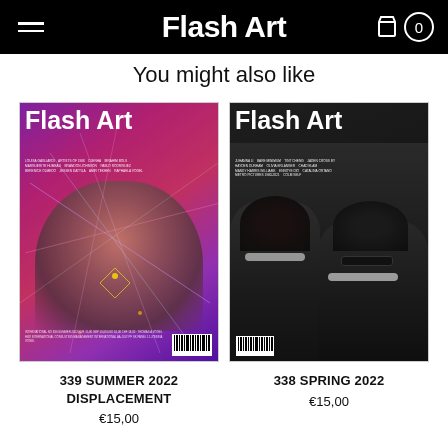Flash Art
You might also like
[Figure (photo): Flash Art magazine cover #339 Summer 2022 DISPLACEMENT — colorful purple/red cover with abstract figure lying down and geometric light streaks]
339 SUMMER 2022
DISPLACEMENT
€15,00
[Figure (photo): Flash Art magazine cover #338 Spring 2022 — dark cover showing people in black and white uniforms with Flash Art logo]
338 SPRING 2022
€15,00